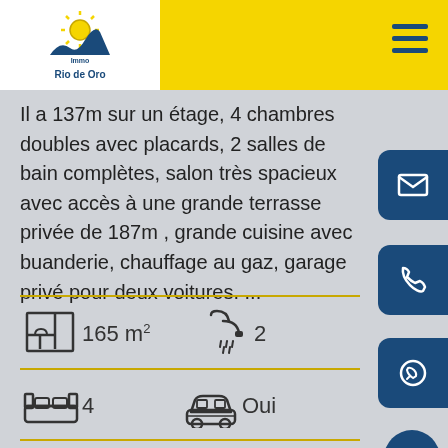Immo Rio de Oro
Il a 137m sur un étage, 4 chambres doubles avec placards, 2 salles de bain complètes, salon très spacieux avec accès à une grande terrasse privée de 187m , grande cuisine avec buanderie, chauffage au gaz, garage privé pour deux voitures. ...
165 m²
2
4
Oui
Référence Réf. AP-CTO36G
395.000